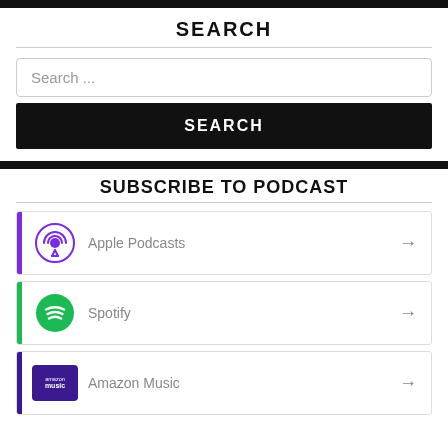SEARCH
Search ...
SEARCH
SUBSCRIBE TO PODCAST
Apple Podcasts
Spotify
Amazon Music